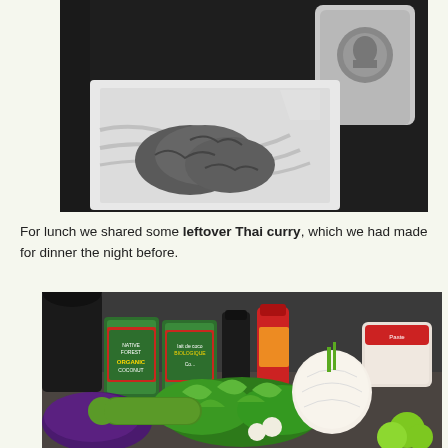[Figure (photo): Black and white photo of cookies or baked goods on a Starbucks napkin with a Starbucks cup in the background, on a dark table.]
For lunch we shared some leftover Thai curry, which we had made for dinner the night before.
[Figure (photo): Color photo of Thai curry ingredients on a counter including cans of organic coconut milk, spices, a bottle of sauce, cilantro, an onion, eggplant, cucumber, and limes.]